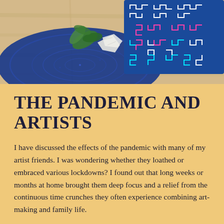[Figure (photo): Top-down photograph showing a blue circular woven rug with green plant leaves and a white tissue/paper item on a light wood floor, alongside a blue embroidered textile with pink, white, and cyan geometric cross/puzzle patterns]
THE PANDEMIC AND ARTISTS
I have discussed the effects of the pandemic with many of my artist friends. I was wondering whether they loathed or embraced various lockdowns? I found out that long weeks or months at home brought them deep focus and a relief from the continuous time crunches they often experience combining art-making and family life.
However, I observed more. A pandemic causes many people to lose their equilibrium. Anxiety sets in and